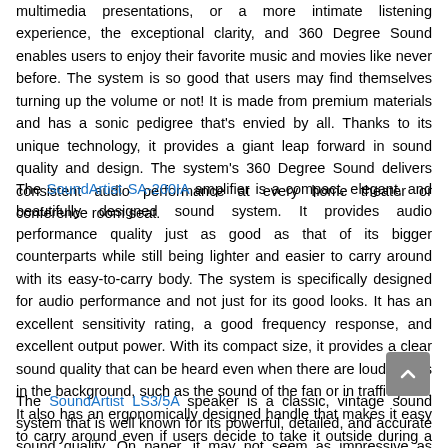multimedia presentations, or a more intimate listening experience, the exceptional clarity, and 360 Degree Sound enables users to enjoy their favorite music and movies like never before. The system is so good that users may find themselves turning up the volume or not! It is made from premium materials and has a sonic pedigree that's envied by all. Thanks to its unique technology, it provides a giant leap forward in sound quality and design. The system's 360 Degree Sound delivers consistent audio performance at every home theater or conference room seat.
The SoundArtist SA-200IA amplifier is a compact, elegant, and beautifully designed sound system. It provides audio performance quality just as good as that of its bigger counterparts while still being lighter and easier to carry around with its easy-to-carry body. The system is specifically designed for audio performance and not just for its good looks. It has an excellent sensitivity rating, a good frequency response, and excellent output power. With its compact size, it provides a clear sound quality that can be heard even when there are loud noises in the background, such as the sound of the fan or in traffic jams. It also has an ergonomically designed handle that makes it easy to carry around even if users decide to take it outside during a party or for fun.
The SoundArtist LS3/5A speaker is a classic, vintage sound system that is well known for its powerful, detailed, and accurate sound quality. On paper, it may not seem as impressive as contemporary rivals, but once buyers